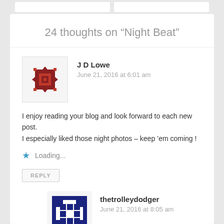24 thoughts on “Night Beat”
[Figure (illustration): Avatar icon for J D Lowe: dark red geometric pattern on white/light background, square with diamond shapes]
J D Lowe
June 21, 2016 at 6:01 am
I enjoy reading your blog and look forward to each new post. I especially liked those night photos – keep ’em coming !
Loading...
REPLY
[Figure (illustration): Avatar icon for thetrolleydodger: dark navy blue geometric/tile pattern on white background, square]
thetrolleydodger
June 21, 2016 at 8:05 am